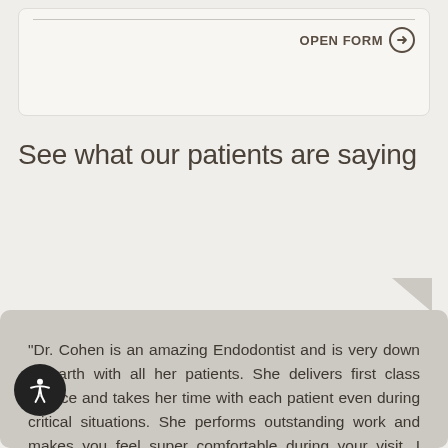OPEN FORM →
See what our patients are saying
"Dr. Cohen is an amazing Endodontist and is very down to earth with all her patients. She delivers first class service and takes her time with each patient even during critical situations. She performs outstanding work and makes you feel super comfortable during your visit. I recommend Dr. Cohen to anyone who needs to see an Endodontist. She is the doctor to go to and will cure any dental problem you are currently having or had. If you are ever in West Seattle and need a great Endodontist, Dr. Cohen is the doctor for you!"